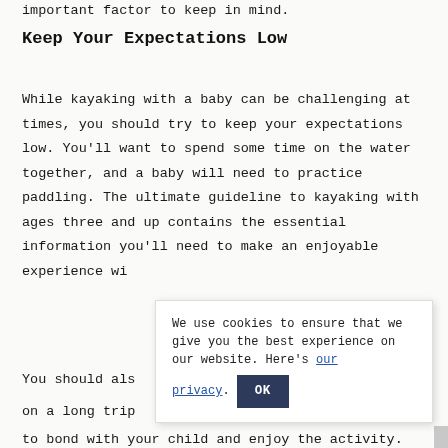important factor to keep in mind.
Keep Your Expectations Low
While kayaking with a baby can be challenging at times, you should try to keep your expectations low. You'll want to spend some time on the water together, and a baby will need to practice paddling. The ultimate guideline to kayaking with ages three and up contains the essential information you'll need to make an enjoyable experience wi[th your child.]
You should als[o avoid taking a baby] on a long trip[. It's a great opportunity] to bond with your child and enjoy the activity.
We use cookies to ensure that we give you the best experience on our website. Here's our privacy. OK